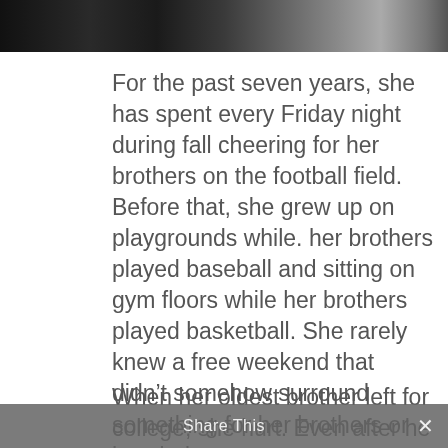[Figure (photo): Partial dark photograph visible at top of page, cropped]
For the past seven years, she has spent every Friday night during fall cheering for her brothers on the football field. Before that, she grew up on playgrounds while. her brothers played baseball and sitting on gym floors while her brothers played basketball. She rarely knew a free weekend that didn't somehow surround something for her brothers or her dad.
When her oldest brother left for college, she hurt. Even after he has been gone for three years, she facetimes him all the time. When something good happens,
Share This